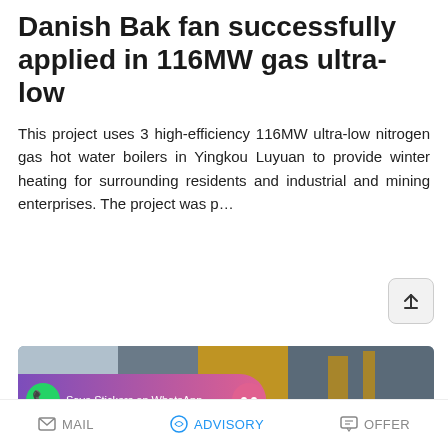Danish Bak fan successfully applied in 116MW gas ultra-low
This project uses 3 high-efficiency 116MW ultra-low nitrogen gas hot water boilers in Yingkou Luyuan to provide winter heating for surrounding residents and industrial and mining enterprises. The project was p…
READ MORE
[Figure (photo): Industrial gas boiler room with blue cylindrical boilers and yellow piping overhead]
MAIL  ADVISORY  OFFER